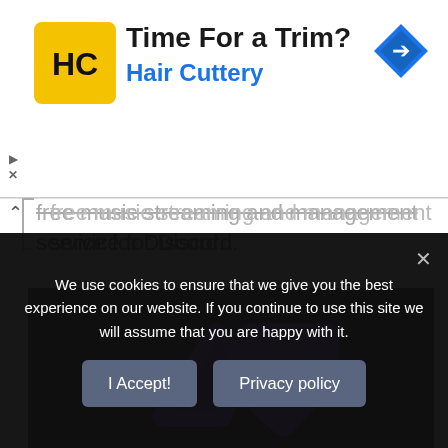[Figure (advertisement): Hair Cuttery advertisement banner with yellow HC logo, 'Time For a Trim?' heading, 'Hair Cuttery' subtitle in blue, and blue navigation diamond icon top right]
free music streaming and management service for Discord.
[Figure (screenshot): Dark background image showing a purple checkmark/tick logo outline]
We use cookies to ensure that we give you the best experience on our website. If you continue to use this site we will assume that you are happy with it.